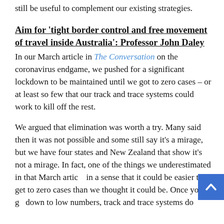still be useful to complement our existing strategies.
Aim for ‘tight border control and free movement of travel inside Australia’: Professor John Daley
In our March article in The Conversation on the coronavirus endgame, we pushed for a significant lockdown to be maintained until we got to zero cases – or at least so few that our track and trace systems could work to kill off the rest.
We argued that elimination was worth a try. Many said then it was not possible and some still say it’s a mirage, but we have four states and New Zealand that show it’s not a mirage. In fact, one of the things we underestimated in that March article in a sense that it could be easier to get to zero cases than we thought it could be. Once you go down to low numbers, track and trace systems do